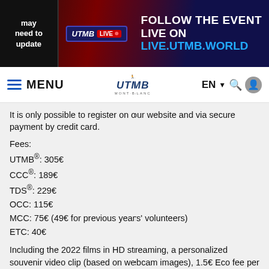[Figure (screenshot): UTMB live event banner with 'may need to update' text on left, UTMB LIVE badge in center, and FOLLOW THE EVENT LIVE ON LIVE.UTMB.WORLD text on right]
[Figure (screenshot): Navigation bar with hamburger menu and MENU text, UTMB Mont-Blanc logo in center, EN language selector with dropdown arrow, search icon, and user account icon]
It is only possible to register on our website and via secure payment by credit card.
Fees:
UTMB®: 305€
CCC®: 189€
TDS®: 229€
OCC: 115€
MCC: 75€ (49€ for previous years' volunteers)
ETC: 40€
Including the 2022 films in HD streaming, a personalized souvenir video clip (based on webcam images), 1.5€ Eco fee per person to finance the cleaning, repairing and maintenance of the trails, and 13€  for the 2022 membership of the Trailers du Mont-Blanc association.
The fee covers all the services as per the current regulations. It does not include, however, 5% bank charges